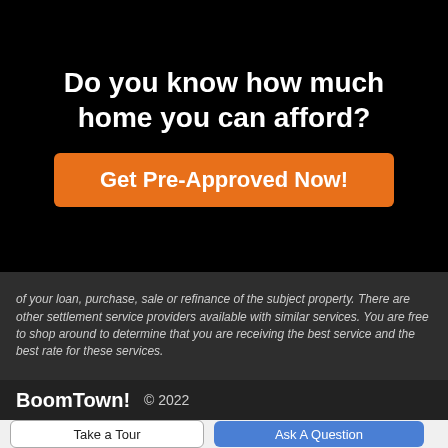Do you know how much home you can afford?
Get Pre-Approved Now!
of your loan, purchase, sale or refinance of the subject property. There are other settlement service providers available with similar services. You are free to shop around to determine that you are receiving the best service and the best rate for these services.
BoomTown! © 2022
Take a Tour
Ask A Question